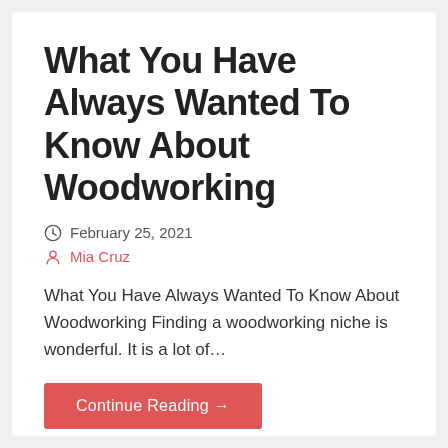What You Have Always Wanted To Know About Woodworking
February 25, 2021
Mia Cruz
What You Have Always Wanted To Know About Woodworking Finding a woodworking niche is wonderful. It is a lot of...
Continue Reading →
Posted in: wood furnishings mcallen tx
Filed under: wood furnishings mcallen tx